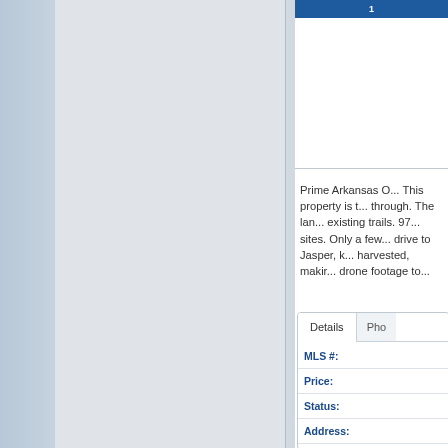[Figure (photo): Real estate listing page with photo panel on left (light blue/gray gradient with white inner area showing property image area) and listing details on right]
Prime Arkansas O... This property is t... through. The lan... existing trails. 97... sites. Only a few... drive to Jasper, k... harvested, makir... drone footage to...
| Field | Value |
| --- | --- |
| MLS #: |  |
| Price: |  |
| Status: |  |
| Address: |  |
| Subdivision: |  |